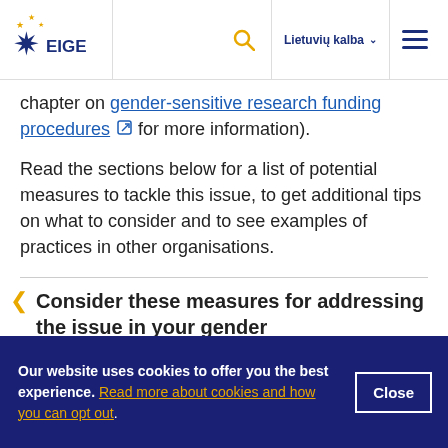EIGE — Lietuvių kalba
chapter on gender-sensitive research funding procedures for more information).
Read the sections below for a list of potential measures to tackle this issue, to get additional tips on what to consider and to see examples of practices in other organisations.
Consider these measures for addressing the issue in your gender
Our website uses cookies to offer you the best experience. Read more about cookies and how you can opt out.